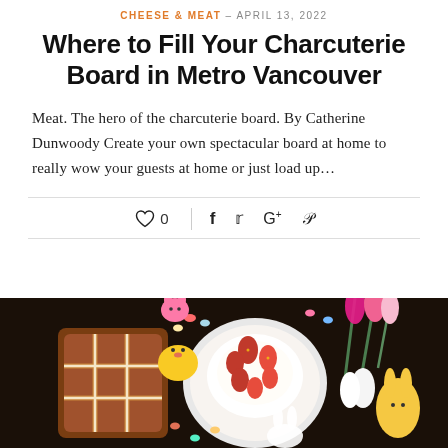CHEESE & MEAT – APRIL 13, 2022
Where to Fill Your Charcuterie Board in Metro Vancouver
Meat. The hero of the charcuterie board. By Catherine Dunwoody Create your own spectacular board at home to really wow your guests at home or just load up…
[Figure (photo): Flat lay photo of an Easter food spread on a dark background including hot cross buns, a plate with whipped cream and fresh strawberries, pink and white tulips, Easter-themed cookies (bunny and chick shapes), and colorful candy eggs scattered around.]